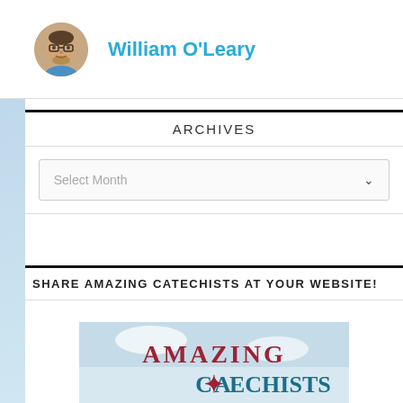William O'Leary
ARCHIVES
Select Month
SHARE AMAZING CATECHISTS AT YOUR WEBSITE!
[Figure (logo): Amazing Catechists logo with text 'AMAZING CATECHISTS' in red and teal serif font]